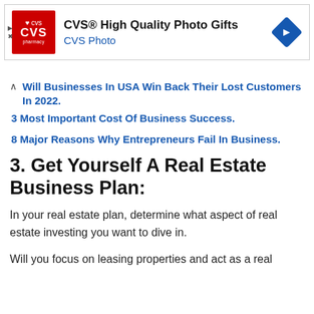[Figure (other): CVS Pharmacy advertisement banner with logo, text 'CVS® High Quality Photo Gifts / CVS Photo', and a blue navigation arrow icon]
Will Businesses In USA Win Back Their Lost Customers In 2022.
3 Most Important Cost Of Business Success.
8 Major Reasons Why Entrepreneurs Fail In Business.
3. Get Yourself A Real Estate Business Plan:
In your real estate plan, determine what aspect of real estate investing you want to dive in.
Will you focus on leasing properties and act as a real